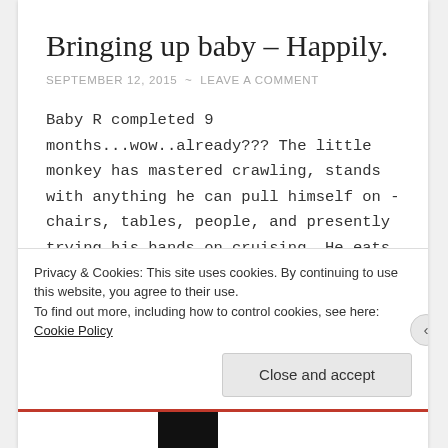Bringing up baby – Happily.
SEPTEMBER 12, 2015  ~  LEAVE A COMMENT
Baby R completed 9 months...wow..already??? The little monkey has mastered crawling, stands with anything he can pull himself on - chairs, tables, people, and presently trying his hands on cruising. He eats pureed/finely grated fruits and vegetables, yogurt, cerelac, formula and breast milk along with other edible/inedible stuff he manages to get into his mouth... Continue
Privacy & Cookies: This site uses cookies. By continuing to use this website, you agree to their use.
To find out more, including how to control cookies, see here: Cookie Policy
Close and accept